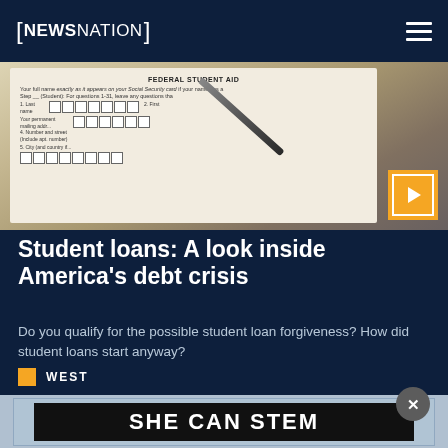NEWSNATION
[Figure (photo): A FAFSA Federal Student Aid form with a pen resting on it, partially filled out. The form shows fields for student name, social security card, permanent mailing address, city fields, with small boxes for letter entries. A gold/orange play button icon is visible in the bottom right corner of the image.]
Student loans: A look inside America's debt crisis
Do you qualify for the possible student loan forgiveness? How did student loans start anyway?
WEST
[Figure (screenshot): An advertisement banner with dark background showing the text 'SHE CAN STEM' in large white bold letters with a partial image of an Alaska Airlines aircraft visible at the bottom. A grey circular close (X) button appears above the ad.]